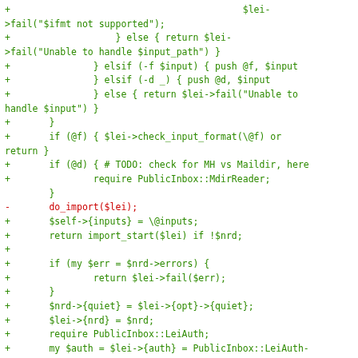Code diff showing Perl source changes involving $lei->fail, elsif/else branches, check_input_format, do_import, import_start, LeiAuth, and sub ipc_atfork_child